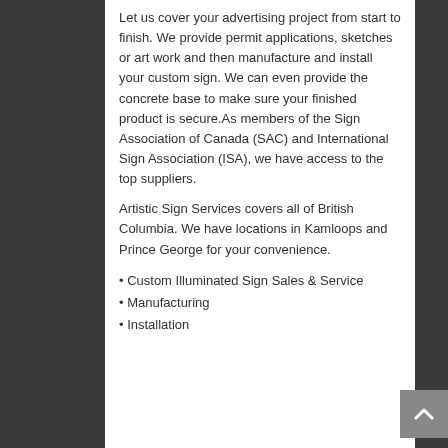Let us cover your advertising project from start to finish. We provide permit applications, sketches or art work and then manufacture and install your custom sign. We can even provide the concrete base to make sure your finished product is secure.As members of the Sign Association of Canada (SAC) and International Sign Association (ISA), we have access to the top suppliers.
Artistic Sign Services covers all of British Columbia. We have locations in Kamloops and Prince George for your convenience.
• Custom Illuminated Sign Sales & Service
• Manufacturing
• Installation